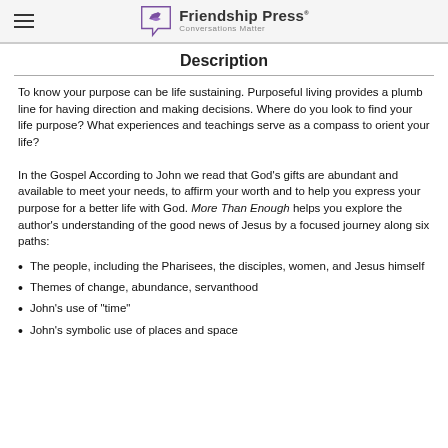Friendship Press · Conversations Matter
Description
To know your purpose can be life sustaining. Purposeful living provides a plumb line for having direction and making decisions. Where do you look to find your life purpose? What experiences and teachings serve as a compass to orient your life?
In the Gospel According to John we read that God’s gifts are abundant and available to meet your needs, to affirm your worth and to help you express your purpose for a better life with God. More Than Enough helps you explore the author’s understanding of the good news of Jesus by a focused journey along six paths:
The people, including the Pharisees, the disciples, women, and Jesus himself
Themes of change, abundance, servanthood
John’s use of “time”
John’s symbolic use of places and space